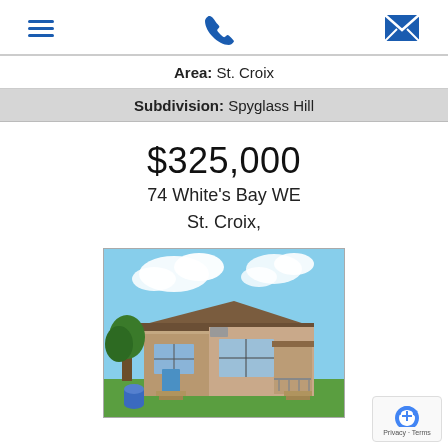[hamburger menu icon] [phone icon] [email icon]
Area: St. Croix
Subdivision: Spyglass Hill
$325,000
74 White's Bay WE
St. Croix,
[Figure (photo): Photo of a single-story tan/beige residential home with a dark roof, steps at the entrance, an air conditioning unit, and lush green surroundings with a blue sky and clouds in the background.]